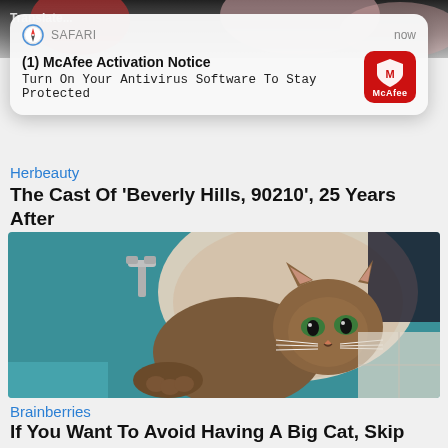[Figure (screenshot): Top of mobile webpage showing partial image with 'Translate...' text visible]
[Figure (screenshot): iOS Safari push notification banner: '(1) McAfee Activation Notice - Turn On Your Antivirus Software To Stay Protected' with McAfee red icon, now timestamp]
Herbeauty
The Cast Of 'Beverly Hills, 90210', 25 Years After
[Figure (photo): Photo of a tabby/Abyssinian cat sitting inside a bathroom sink, looking up at the camera]
Brainberries
If You Want To Avoid Having A Big Cat, Skip These